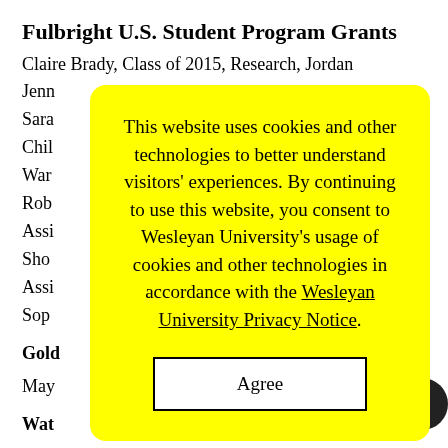Fulbright U.S. Student Program Grants
Claire Brady, Class of 2015, Research, Jordan
Jenn[...] n
Sara[...]
Chil[...]
War[...]
Rob[...]
Assi[...]
Sho[...]
Assi[...]
Sop[...]
Gold[...]
May[...]
Wat[...]
Mic[...]
This website uses cookies and other technologies to better understand visitors' experiences. By continuing to use this website, you consent to Wesleyan University's usage of cookies and other technologies in accordance with the Wesleyan University Privacy Notice.
Agree